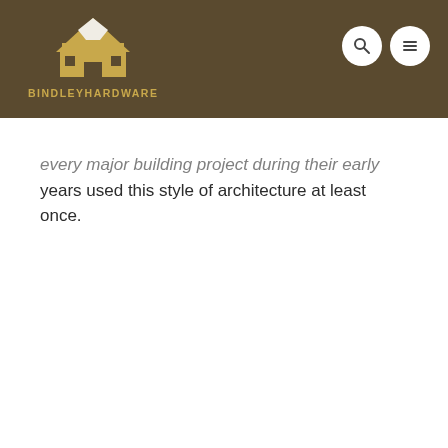BINDLEYHARDWARE
every major building project during their early years used this style of architecture at least once.